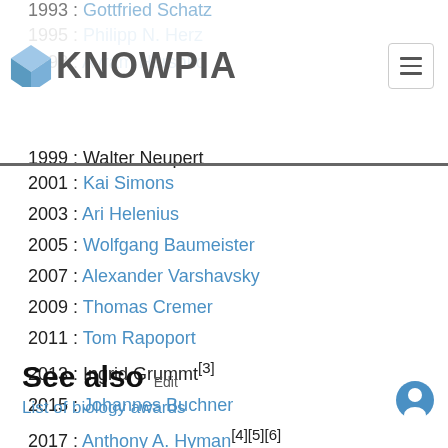KNOWPIA
1995 : Philipp N. Herz
1998 : Avram Hershko
1999 : Walter Neupert
2001 : Kai Simons
2003 : Ari Helenius
2005 : Wolfgang Baumeister
2007 : Alexander Varshavsky
2009 : Thomas Cremer
2011 : Tom Rapoport
2013 : Ingrid Grummt[3]
2015 : Johannes Buchner
2017 : Anthony A. Hyman[4][5][6]
2019 : Elena Conti[7]
2021 : Nikolaus Pfanner[8][9]
See also
List of biology awards